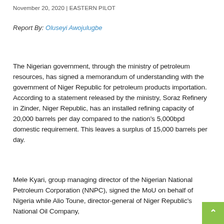November 20, 2020 | EASTERN PILOT
Report By: Oluseyi Awojulugbe
The Nigerian government, through the ministry of petroleum resources, has signed a memorandum of understanding with the government of Niger Republic for petroleum products importation. According to a statement released by the ministry, Soraz Refinery in Zinder, Niger Republic, has an installed refining capacity of 20,000 barrels per day compared to the nation's 5,000bpd domestic requirement. This leaves a surplus of 15,000 barrels per day.
Mele Kyari, group managing director of the Nigerian National Petroleum Corporation (NNPC), signed the MoU on behalf of Nigeria while Alio Toune, director-general of Niger Republic's National Oil Company,